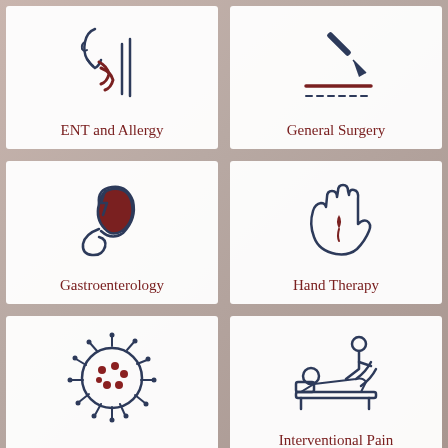[Figure (illustration): ENT and Allergy icon: side profile of a face with open mouth showing throat and nasal area, dark navy and dark red colors]
ENT and Allergy
[Figure (illustration): General Surgery icon: surgical scalpel with a dashed incision line beneath it, dark navy color]
General Surgery
[Figure (illustration): Gastroenterology icon: stomach with lightning bolt and intestines, dark navy and dark red colors]
Gastroenterology
[Figure (illustration): Hand Therapy icon: open hand with a dark red teardrop shape in the palm, dark navy color]
Hand Therapy
[Figure (illustration): Virus/pathogen icon: circular virus with spikes, dark navy outline with dark red dots]
[Figure (illustration): Interventional Pain icon: patient lying on a table/bed receiving treatment from a practitioner, dark navy color]
Interventional Pain